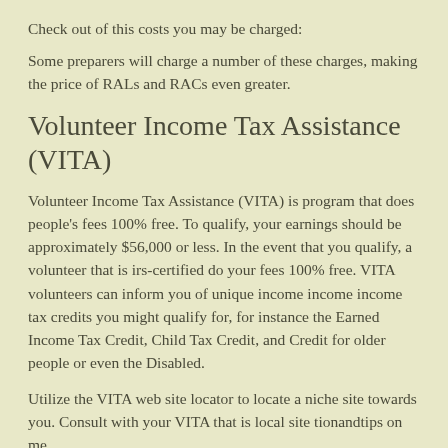Check out of this costs you may be charged:
Some preparers will charge a number of these charges, making the price of RALs and RACs even greater.
Volunteer Income Tax Assistance (VITA)
Volunteer Income Tax Assistance (VITA) is program that does people's fees 100% free. To qualify, your earnings should be approximately $56,000 or less. In the event that you qualify, a volunteer that is irs-certified do your fees 100% free. VITA volunteers can inform you of unique income income income tax credits you might qualify for, for instance the Earned Income Tax Credit, Child Tax Credit, and Credit for older people or even the Disabled.
Utilize the VITA web site locator to locate a niche site towards you. Consult with your VITA that is local site tionandtips on me...